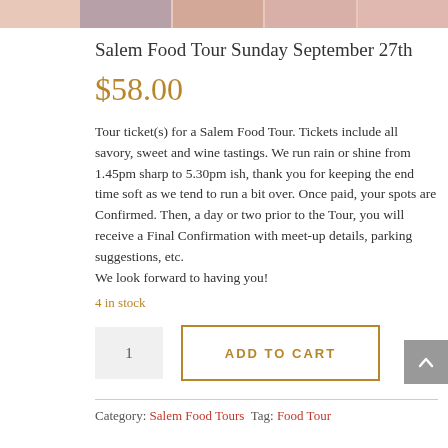[Figure (photo): Partial image strip at top showing food tour photos (cropped at top of page)]
Salem Food Tour Sunday September 27th
$58.00
Tour ticket(s) for a Salem Food Tour. Tickets include all savory, sweet and wine tastings. We run rain or shine from 1.45pm sharp to 5.30pm ish, thank you for keeping the end time soft as we tend to run a bit over. Once paid, your spots are Confirmed. Then, a day or two prior to the Tour, you will receive a Final Confirmation with meet-up details, parking suggestions, etc.
We look forward to having you!
4 in stock
ADD TO CART
Category: Salem Food Tours Tag: Food Tour